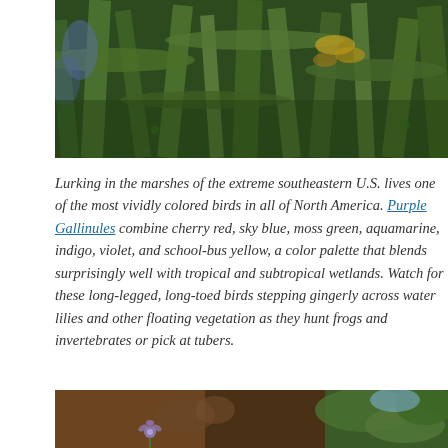[Figure (photo): Close-up photograph of marsh vegetation — green stalks, leaves, and what appears to be a bird partially hidden among plants with yellow and brown coloring visible]
Lurking in the marshes of the extreme southeastern U.S. lives one of the most vividly colored birds in all of North America. Purple Gallinules combine cherry red, sky blue, moss green, aquamarine, indigo, violet, and school-bus yellow, a color palette that blends surprisingly well with tropical and subtropical wetlands. Watch for these long-legged, long-toed birds stepping gingerly across water lilies and other floating vegetation as they hunt frogs and invertebrates or pick at tubers.
[Figure (photo): Photograph showing a Purple Gallinule bird among green foliage, with a small purple flower visible in the lower portion of the image]